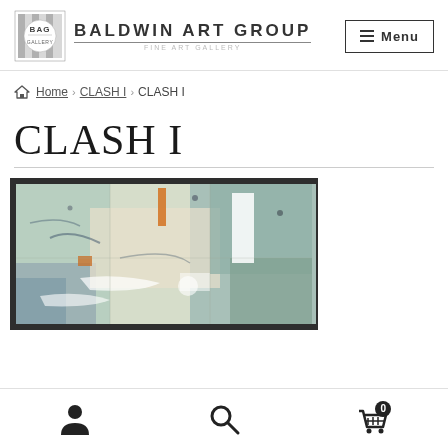[Figure (logo): Baldwin Art Group logo with BAG badge and text]
⌂ Home › CLASH I › CLASH I
CLASH I
[Figure (photo): Abstract painting in a dark frame with muted teal, cream, and blue tones with orange accents, titled CLASH I]